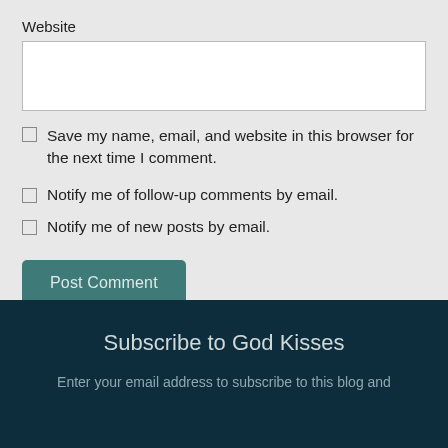Website
Save my name, email, and website in this browser for the next time I comment.
Notify me of follow-up comments by email.
Notify me of new posts by email.
Post Comment
Subscribe to God Kisses
Enter your email address to subscribe to this blog and